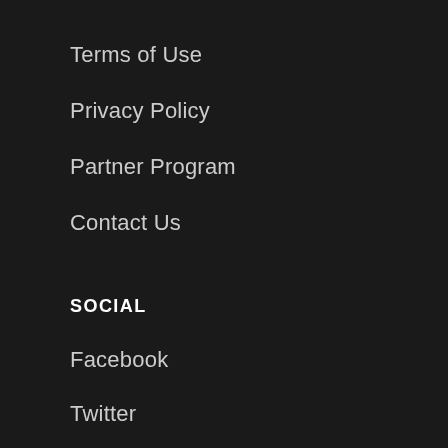Terms of Use
Privacy Policy
Partner Program
Contact Us
SOCIAL
Facebook
Twitter
Instagram
YouTube